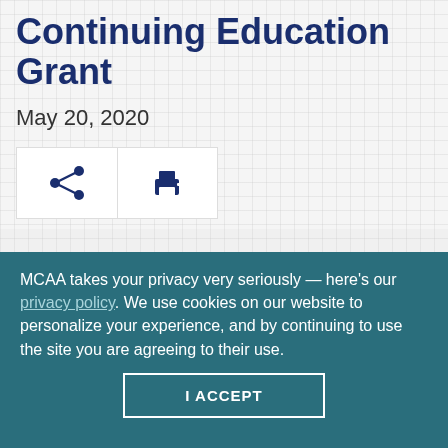Continuing Education Grant
May 20, 2020
[Figure (other): Share icon button and print icon button in a white box]
[Figure (photo): Person's head/hair visible — partial portrait photo with grey background]
MCAA takes your privacy very seriously — here's our privacy policy. We use cookies on our website to personalize your experience, and by continuing to use the site you are agreeing to their use.
I ACCEPT